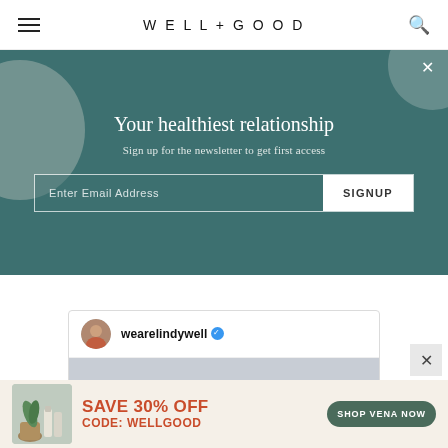WELL+GOOD
[Figure (screenshot): Newsletter signup overlay on teal background with decorative circles, headline 'Your healthiest relationship', subtext 'Sign up for the newsletter to get first access', email input field and SIGNUP button]
[Figure (screenshot): Instagram post card from @wearelindywell (verified) showing a woman doing a yoga/pilates side stretch pose outdoors by the sea]
[Figure (screenshot): Advertisement banner: 'SAVE 30% OFF CODE: WELLGOOD' with 'SHOP VENA NOW' green pill button and product images on beige background]